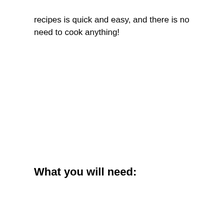recipes is quick and easy, and there is no need to cook anything!
What you will need: